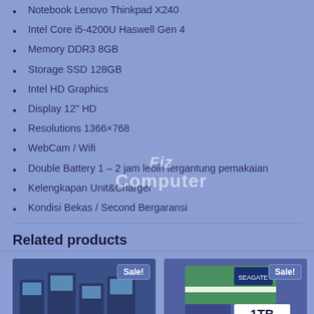Notebook Lenovo Thinkpad X240
Intel Core i5-4200U Haswell Gen 4
Memory DDR3 8GB
Storage SSD 128GB
Intel HD Graphics
Display 12" HD
Resolutions 1366×768
WebCam / Wifi
Double Battery 1 – 2 jam lebih tergantung pemakaian
Kelengkapan Unit&Charger
Kondisi Bekas / Second Bergaransi
Related products
[Figure (photo): Product card showing desktop computers in a shop with Sale! badge]
[Figure (photo): Product card showing Seagate 1TB BarraCuda hard drive box with Sale! badge]